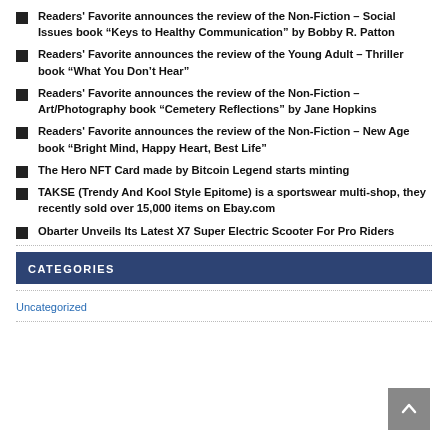Readers' Favorite announces the review of the Non-Fiction – Social Issues book “Keys to Healthy Communication” by Bobby R. Patton
Readers' Favorite announces the review of the Young Adult – Thriller book “What You Don’t Hear”
Readers' Favorite announces the review of the Non-Fiction – Art/Photography book “Cemetery Reflections” by Jane Hopkins
Readers' Favorite announces the review of the Non-Fiction – New Age book “Bright Mind, Happy Heart, Best Life”
The Hero NFT Card made by Bitcoin Legend starts minting
TAKSE (Trendy And Kool Style Epitome) is a sportswear multi-shop, they recently sold over 15,000 items on Ebay.com
Obarter Unveils Its Latest X7 Super Electric Scooter For Pro Riders
CATEGORIES
Uncategorized